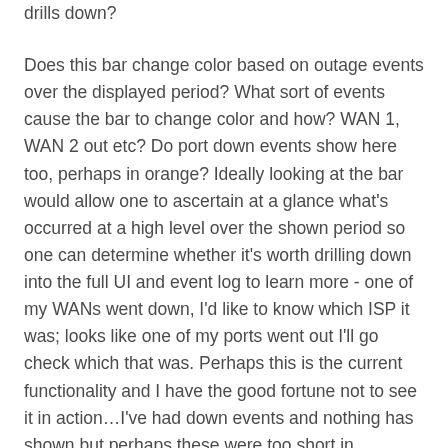drills down?
Does this bar change color based on outage events over the displayed period? What sort of events cause the bar to change color and how? WAN 1, WAN 2 out etc? Do port down events show here too, perhaps in orange? Ideally looking at the bar would allow one to ascertain at a glance what's occurred at a high level over the shown period so one can determine whether it's worth drilling down into the full UI and event log to learn more - one of my WANs went down, I'd like to know which ISP it was; looks like one of my ports went out I'll go check which that was. Perhaps this is the current functionality and I have the good fortune not to see it in action…I've had down events and nothing has shown but perhaps these were too short in duration?